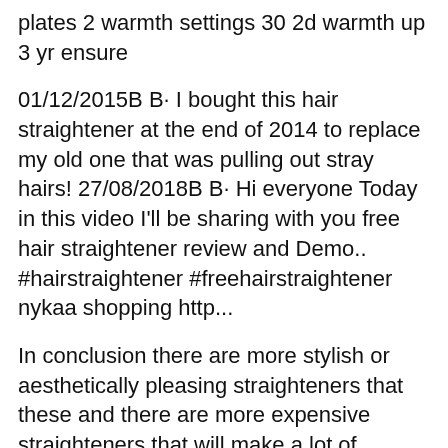plates 2 warmth settings 30 2d warmth up 3 yr ensure
01/12/2015B B· I bought this hair straightener at the end of 2014 to replace my old one that was pulling out stray hairs! 27/08/2018B B· Hi everyone Today in this video I'll be sharing with you free hair straightener review and Demo.. #hairstraightener #freehairstraightener nykaa shopping http...
In conclusion there are more stylish or aesthetically pleasing straighteners that these and there are more expensive straighteners that will make a lot of promises about what they can offer.